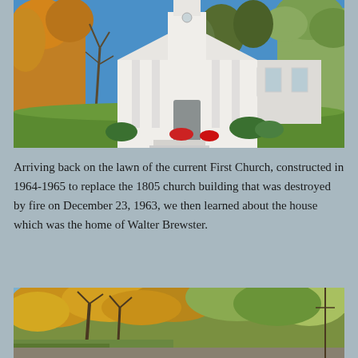[Figure (photo): White colonial-style church building with tall columns and a steeple, surrounded by autumn trees with orange and yellow foliage, green lawn in foreground, blue sky.]
Arriving back on the lawn of the current First Church, constructed in 1964-1965 to replace the 1805 church building that was destroyed by fire on December 23, 1963, we then learned about the house which was the home of Walter Brewster.
[Figure (photo): Autumn landscape scene with trees displaying yellow and orange fall foliage, partially obscuring a building or house in the background, under a blue sky.]